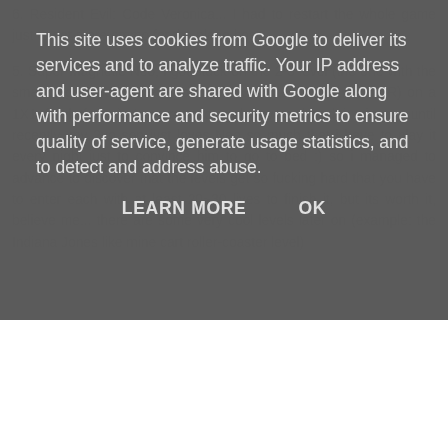This site uses cookies from Google to deliver its services and to analyze traffic. Your IP address and user-agent are shared with Google along with performance and security metrics to ensure quality of service, generate usage statistics, and to detect and address abuse.
LEARN MORE   OK
6. Resident Evil: Code Veronica... I had to restart the whole game just to get more ammo for the plane boss
5. Super Magnetic Neo, i got stuck on the 2-3 level (the one with the small Lego blocks where you have to rocket-jump (holding R) on a 1X1 ft platforms) 4 years ago and never played it since... until recently, my 2yo son just loves Neo so much that i have to play it every night just to convince him to go to bed :) so i managed to advance to discover that the levels get so fucking hard that you have to enter each with at least 20~30 lives to finish it, but its worth it, believe me... there are some very cool levels later on (example: the Indiana Jones like mine cart roller-coaster level)